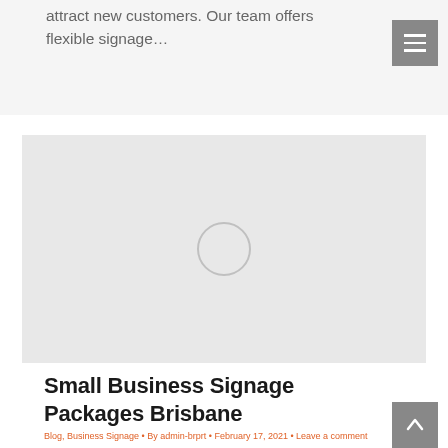attract new customers. Our team offers flexible signage…
[Figure (photo): Gray placeholder image with a circle outline in the center]
Small Business Signage Packages Brisbane
Blog, Business Signage • By admin-brprt • February 17, 2021 • Leave a comment
Have you recently started a new business?